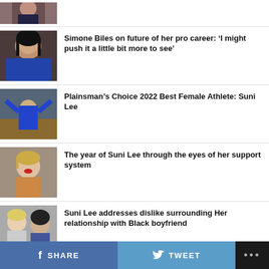[Figure (photo): Partial photo of a person at the top of the page, cropped]
Simone Biles on future of her pro career: ‘I might push it a little bit more to see’
[Figure (photo): Photo of Simone Biles]
Plainsman’s Choice 2022 Best Female Athlete: Suni Lee
[Figure (photo): Photo of Suni Lee on a gymnastics balance beam]
The year of Suni Lee through the eyes of her support system
[Figure (photo): Photo of Suni Lee portrait]
Suni Lee addresses dislike surrounding Her relationship with Black boyfriend
[Figure (photo): Photo of two people in a car]
SHARE   TWEET   ...